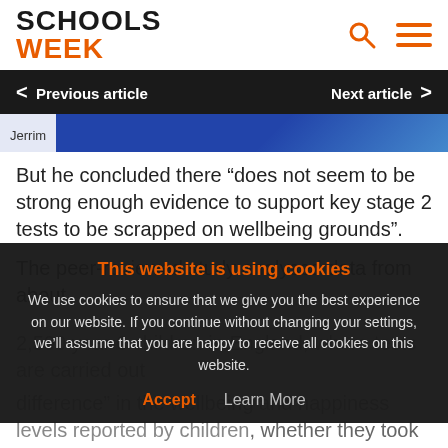SCHOOLS WEEK
Previous article  Next article
Jerrim
But he concluded there “does not seem to be strong enough evidence to support key stage 2 tests to be scrapped on wellbeing grounds”.
The peer-reviewed study analysed data from about 2,500 year 6 children in England, where tests are carried out, and compared them with children in countries that do not run such tests.
A… difference” in the wellbeing and happiness levels reported by children, whether they took tests or not.
This website is using cookies
We use cookies to ensure that we give you the best experience on our website. If you continue without changing your settings, we’ll assume that you are happy to receive all cookies on this website.
Accept  Learn More